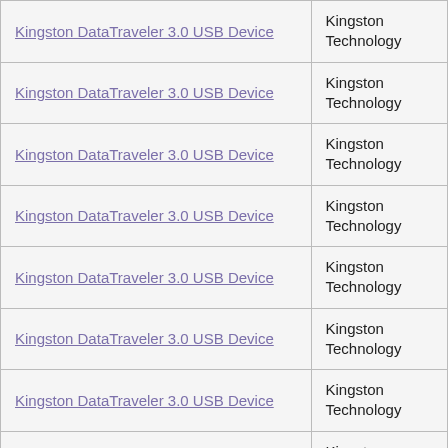| Product | Manufacturer |
| --- | --- |
| Kingston DataTraveler 3.0 USB Device | Kingston Technology |
| Kingston DataTraveler 3.0 USB Device | Kingston Technology |
| Kingston DataTraveler 3.0 USB Device | Kingston Technology |
| Kingston DataTraveler 3.0 USB Device | Kingston Technology |
| Kingston DataTraveler 3.0 USB Device | Kingston Technology |
| Kingston DataTraveler 3.0 USB Device | Kingston Technology |
| Kingston DataTraveler 3.0 USB Device | Kingston Technology |
| Kingston DataTraveler 3.0 USB Device | Kingston Technology |
| Kingston DataTraveler 3.0 USB Device | Kingston Technology |
| Kingston DataTraveler 3.0 USB Device | Kingston Technology |
| Kingston DataTraveler 3.0 USB Device | Kingston Technology |